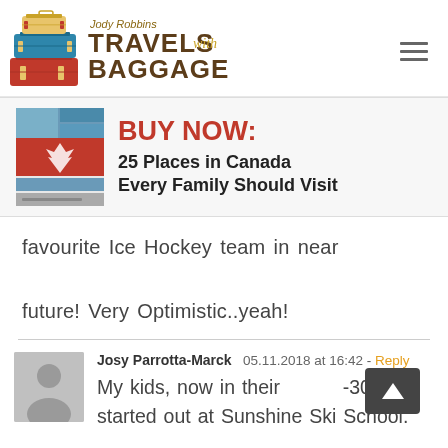[Figure (logo): Jody Robbins Travels with Baggage logo with stacked luggage illustration on left and text on right]
[Figure (illustration): Hamburger/menu icon (three horizontal lines) on the top right]
[Figure (infographic): Book advertisement banner: book cover image on left, BUY NOW: text in red, then '25 Places in Canada Every Family Should Visit' in dark bold text]
favourite Ice Hockey team in near future! Very Optimistic..yeah!
Josy Parrotta-Marck  05.11.2018 at 16:42 · Reply
My kids, now in their mid-30s, started out at Sunshine Ski School.